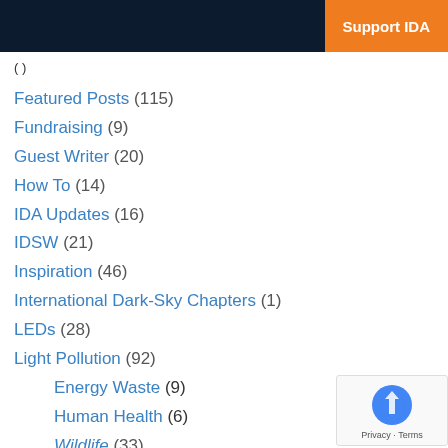Support IDA
Featured Posts (115)
Fundraising (9)
Guest Writer (20)
How To (14)
IDA Updates (16)
IDSW (21)
Inspiration (46)
International Dark-Sky Chapters (1)
LEDs (28)
Light Pollution (92)
Energy Waste (9)
Human Health (6)
Wildlife (33)